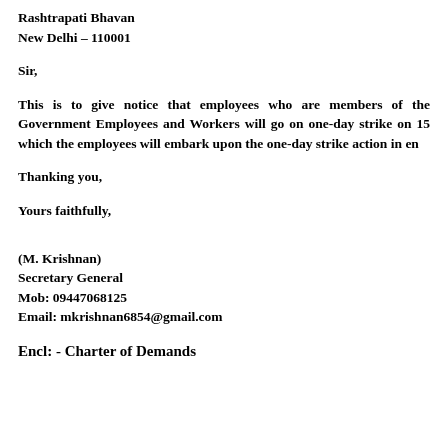Rashtrapati Bhavan
New Delhi – 110001
Sir,
This is to give notice that employees who are members of the Government Employees and Workers will go on one-day strike on 15... which the employees will embark upon the one-day strike action in en...
Thanking you,
Yours faithfully,
(M. Krishnan)
Secretary General
Mob: 09447068125
Email: mkrishnan6854@gmail.com
Encl: -  Charter of Demands